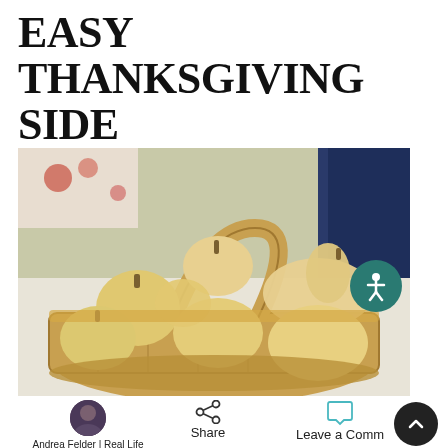EASY THANKSGIVING SIDE
[Figure (photo): A wooden basket filled with multiple butternut squashes and small gourds on a table, with a green wall and blue curtain in the background]
Andrea Felder | Real Life Parenting Strategies
Share
Leave a Comm